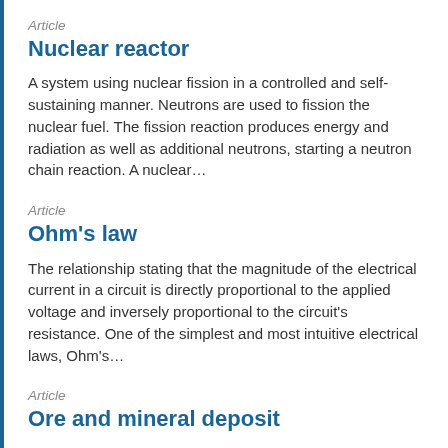Article
Nuclear reactor
A system using nuclear fission in a controlled and self-sustaining manner. Neutrons are used to fission the nuclear fuel. The fission reaction produces energy and radiation as well as additional neutrons, starting a neutron chain reaction. A nuclear…
Article
Ohm's law
The relationship stating that the magnitude of the electrical current in a circuit is directly proportional to the applied voltage and inversely proportional to the circuit's resistance. One of the simplest and most intuitive electrical laws, Ohm's…
Article
Ore and mineral deposit
A naturally occurring geologic body that may contain one or more metals. The metals and concentrations that are…